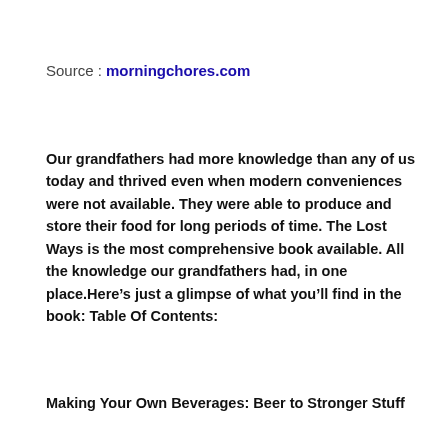Source : morningchores.com
Our grandfathers had more knowledge than any of us today and thrived even when modern conveniences were not available. They were able to produce and store their food for long periods of time. The Lost Ways is the most comprehensive book available. All the knowledge our grandfathers had, in one place.Here’s just a glimpse of what you’ll find in the book: Table Of Contents:
Making Your Own Beverages: Beer to Stronger Stuff